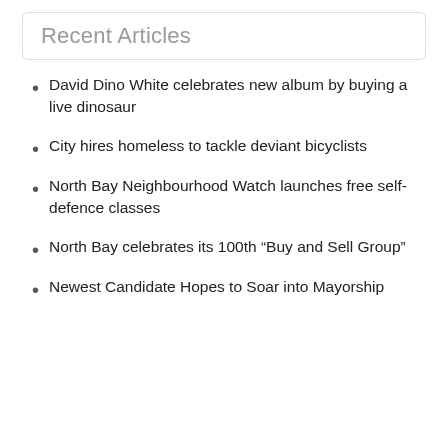Recent Articles
David Dino White celebrates new album by buying a live dinosaur
City hires homeless to tackle deviant bicyclists
North Bay Neighbourhood Watch launches free self-defence classes
North Bay celebrates its 100th “Buy and Sell Group”
Newest Candidate Hopes to Soar into Mayorship